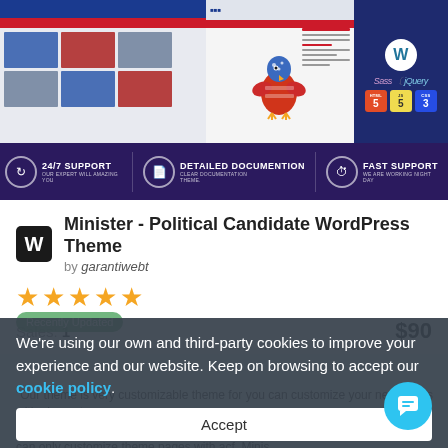[Figure (screenshot): Screenshot of WordPress theme preview showing Minister - Political Candidate theme with American flag/eagle imagery, technology badges (WordPress, HTML5, JS, CSS3, Sass, jQuery), and support features (24/7 Support, Detailed Documentation, Fast Support)]
Minister - Political Candidate WordPress Theme
by garantiwebt
[Figure (other): Five gold star rating]
Sales: 1  $90
We're using our own and third-party cookies to improve your experience and our website. Keep on browsing to accept our cookie policy.
Accept